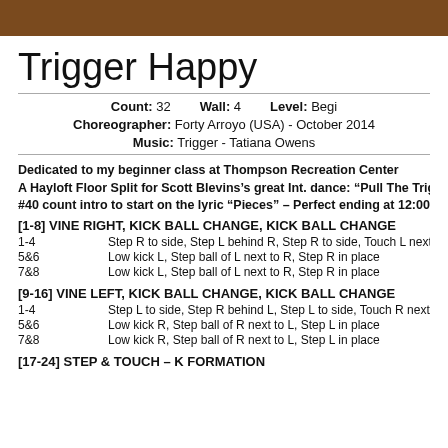Trigger Happy
Count: 32   Wall: 4   Level: Begi...
Choreographer: Forty Arroyo (USA) - October 2014
Music: Trigger - Tatiana Owens
Dedicated to my beginner class at Thompson Recreation Center
A Hayloft Floor Split for Scott Blevins's great Int. dance: “Pull The Trig...
#40 count intro to start on the lyric “Pieces” – Perfect ending at 12:00
[1-8] VINE RIGHT, KICK BALL CHANGE, KICK BALL CHANGE
1-4   Step R to side, Step L behind R, Step R to side, Touch L nex...
5&6   Low kick L, Step ball of L next to R, Step R in place
7&8   Low kick L, Step ball of L next to R, Step R in place
[9-16] VINE LEFT, KICK BALL CHANGE, KICK BALL CHANGE
1-4   Step L to side, Step R behind L, Step L to side, Touch R nex...
5&6   Low kick R, Step ball of R next to L, Step L in place
7&8   Low kick R, Step ball of R next to L, Step L in place
[17-24] STEP & TOUCH – K FORMATION